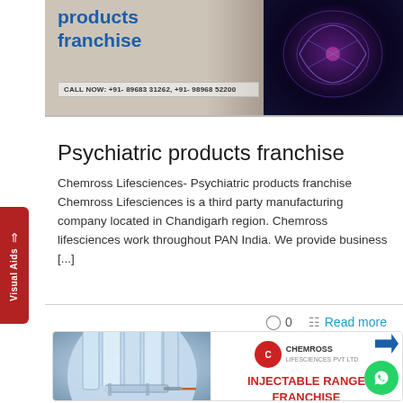[Figure (photo): Top banner for psychiatric products franchise with blue bold text 'products franchise', call now numbers, and a brain scan image on the right]
Psychiatric products franchise
Chemross Lifesciences- Psychiatric products franchise Chemross Lifesciences is a third party manufacturing company located in Chandigarh region. Chemross lifesciences work throughout PAN India. We provide business [...]
○ 0   Read more
[Figure (photo): Bottom card showing injectable range franchise company advertisement with CR Chemross Lifesciences logo, vials/syringe image on left, text 'INJECTABLE RANGE FRANCHISE COMPANY' in red, and phone number +918968331262]